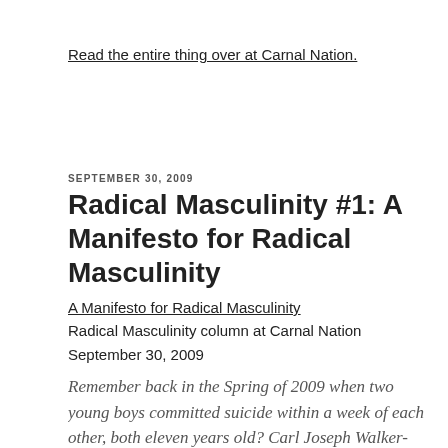Read the entire thing over at Carnal Nation.
SEPTEMBER 30, 2009
Radical Masculinity #1: A Manifesto for Radical Masculinity
A Manifesto for Radical Masculinity
Radical Masculinity column at Carnal Nation
September 30, 2009
Remember back in the Spring of 2009 when two young boys committed suicide within a week of each other, both eleven years old? Carl Joseph Walker-Hoover of Massachusetts and Jaheem Herrera of Georgia were both